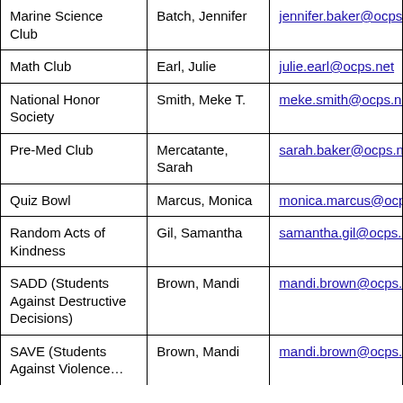| Club/Organization | Sponsor | Email |
| --- | --- | --- |
| Marine Science Club | Batch, Jennifer | jennifer.batch@ocps.net |
| Math Club | Earl, Julie | julie.earl@ocps.net |
| National Honor Society | Smith, Meke T. | meke.smith@ocps.net |
| Pre-Med Club | Mercatante, Sarah | sarah.baker@ocps.net |
| Quiz Bowl | Marcus, Monica | monica.marcus@ocps.net |
| Random Acts of Kindness | Gil, Samantha | samantha.gil@ocps.net |
| SADD (Students Against Destructive Decisions) | Brown, Mandi | mandi.brown@ocps.net |
| SAVE (Students Against Violence...) | Brown, Mandi | mandi.brown@ocps.net |